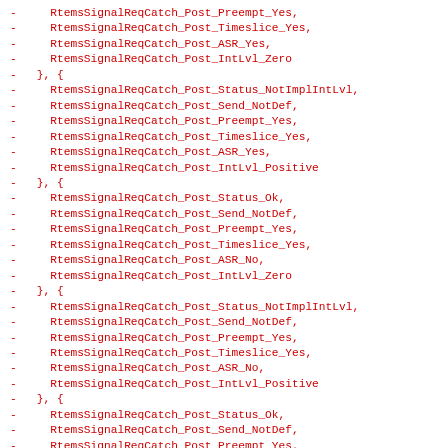-     RtemsSignalReqCatch_Post_Preempt_Yes,
-     RtemsSignalReqCatch_Post_Timeslice_Yes,
-     RtemsSignalReqCatch_Post_ASR_Yes,
-     RtemsSignalReqCatch_Post_IntLvl_Zero
-   }, {
-     RtemsSignalReqCatch_Post_Status_NotImplIntLvl,
-     RtemsSignalReqCatch_Post_Send_NotDef,
-     RtemsSignalReqCatch_Post_Preempt_Yes,
-     RtemsSignalReqCatch_Post_Timeslice_Yes,
-     RtemsSignalReqCatch_Post_ASR_Yes,
-     RtemsSignalReqCatch_Post_IntLvl_Positive
-   }, {
-     RtemsSignalReqCatch_Post_Status_Ok,
-     RtemsSignalReqCatch_Post_Send_NotDef,
-     RtemsSignalReqCatch_Post_Preempt_Yes,
-     RtemsSignalReqCatch_Post_Timeslice_Yes,
-     RtemsSignalReqCatch_Post_ASR_No,
-     RtemsSignalReqCatch_Post_IntLvl_Zero
-   }, {
-     RtemsSignalReqCatch_Post_Status_NotImplIntLvl,
-     RtemsSignalReqCatch_Post_Send_NotDef,
-     RtemsSignalReqCatch_Post_Preempt_Yes,
-     RtemsSignalReqCatch_Post_Timeslice_Yes,
-     RtemsSignalReqCatch_Post_ASR_No,
-     RtemsSignalReqCatch_Post_IntLvl_Positive
-   }, {
-     RtemsSignalReqCatch_Post_Status_Ok,
-     RtemsSignalReqCatch_Post_Send_NotDef,
-     RtemsSignalReqCatch_Post_Preempt_Yes,
-     RtemsSignalReqCatch_Post_Timeslice_No,